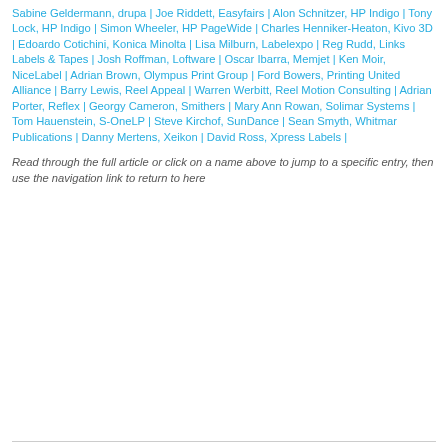Sabine Geldermann, drupa | Joe Riddett, Easyfairs | Alon Schnitzer, HP Indigo | Tony Lock, HP Indigo | Simon Wheeler, HP PageWide | Charles Henniker-Heaton, Kivo 3D | Edoardo Cotichini, Konica Minolta | Lisa Milburn, Labelexpo | Reg Rudd, Links Labels & Tapes | Josh Roffman, Loftware | Oscar Ibarra, Memjet | Ken Moir, NiceLabel | Adrian Brown, Olympus Print Group | Ford Bowers, Printing United Alliance | Barry Lewis, Reel Appeal | Warren Werbitt, Reel Motion Consulting | Adrian Porter, Reflex | Georgy Cameron, Smithers | Mary Ann Rowan, Solimar Systems | Tom Hauenstein, S-OneLP | Steve Kirchof, SunDance | Sean Smyth, Whitmar Publications | Danny Mertens, Xeikon | David Ross, Xpress Labels |
Read through the full article or click on a name above to jump to a specific entry, then use the navigation link to return to here